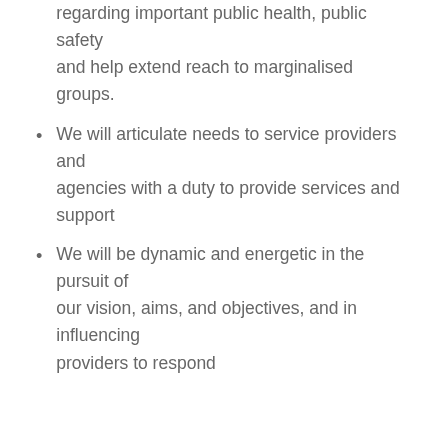regarding important public health, public safety and help extend reach to marginalised groups.
We will articulate needs to service providers and agencies with a duty to provide services and support
We will be dynamic and energetic in the pursuit of our vision, aims, and objectives, and in influencing providers to respond
We have 3 broad aims:
To empower local marginalised communities so that their poverty experience and support from the